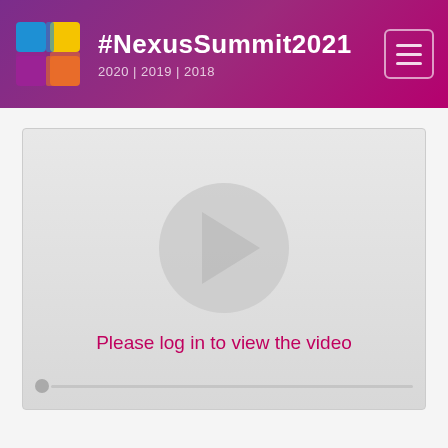#NexusSummit2021 | 2020 | 2019 | 2018
[Figure (screenshot): Video player placeholder with play button circle and message 'Please log in to view the video' and a progress bar at the bottom]